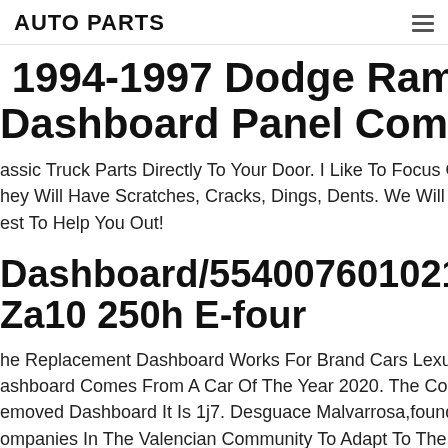AUTO PARTS
1994-1997 Dodge Ram 1500 2... Dashboard Panel Complete Gr...
assic Truck Parts Directly To Your Door. I Like To Focus On... hey Will Have Scratches, Cracks, Dings, Dents. We Will R... est To Help You Out!
Dashboard/554007601021/1708... Za10 250h E-four
he Replacement Dashboard Works For Brand Cars Lexus... ashboard Comes From A Car Of The Year 2020. The Colo... emoved Dashboard It Is 1j7. Desguace Malvarrosa,found... ompanies In The Valencian Community To Adapt To The... anagement Of End-of-life Vehicles. What Authorized Cer...